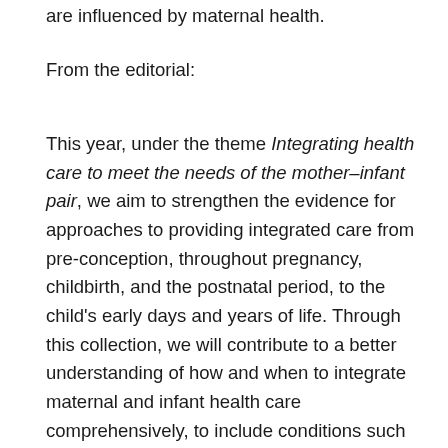are influenced by maternal health.
From the editorial:
This year, under the theme Integrating health care to meet the needs of the mother–infant pair, we aim to strengthen the evidence for approaches to providing integrated care from pre-conception, throughout pregnancy, childbirth, and the postnatal period, to the child's early days and years of life. Through this collection, we will contribute to a better understanding of how and when to integrate maternal and infant health care comprehensively, to include conditions such as HIV, malaria, exposure to environmental risks, and other situations that have a significant impact on both